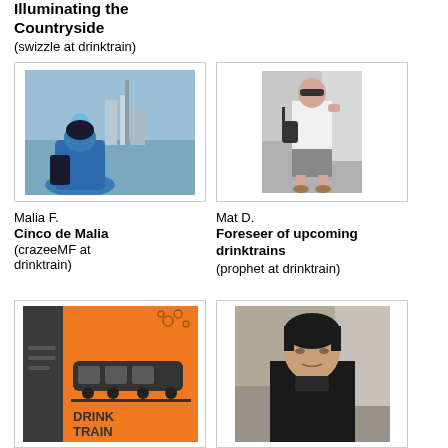Illuminating the Countryside
(swizzle at drinktrain)
[Figure (photo): Person in blue coat viewed from behind, looking at a cityscape with a tower]
[Figure (photo): Man in white t-shirt and grey shorts standing outdoors with a shoulder bag]
Malia F.
Cinco de Malia
(crazeeMF at drinktrain)
Mat D.
Foreseer of upcoming drinktrains
(prophet at drinktrain)
[Figure (logo): Drink Train logo with orange background and dark train graphic]
[Figure (photo): Asian man with dark hair in a dark jacket, outdoors]